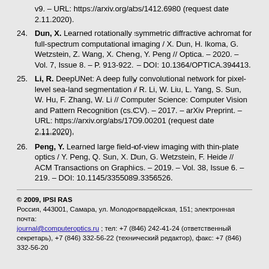v9. – URL: https://arxiv.org/abs/1412.6980 (request date 2.11.2020).
24. Dun, X. Learned rotationally symmetric diffractive achromat for full-spectrum computational imaging / X. Dun, H. Ikoma, G. Wetzstein, Z. Wang, X. Cheng, Y. Peng // Optica. – 2020. – Vol. 7, Issue 8. – P. 913-922. – DOI: 10.1364/OPTICA.394413.
25. Li, R. DeepUNet: A deep fully convolutional network for pixel-level sea-land segmentation / R. Li, W. Liu, L. Yang, S. Sun, W. Hu, F. Zhang, W. Li // Computer Science: Computer Vision and Pattern Recognition (cs.CV). – 2017. – arXiv Preprint. – URL: https://arxiv.org/abs/1709.00201 (request date 2.11.2020).
26. Peng, Y. Learned large field-of-view imaging with thin-plate optics / Y. Peng, Q. Sun, X. Dun, G. Wetzstein, F. Heide // ACM Transactions on Graphics. – 2019. – Vol. 38, Issue 6. – 219. – DOI: 10.1145/3355089.3356526.
© 2009, IPSI RAS
Россия, 443001, Самара, ул. Молодогвардейская, 151; электронная почта: journal@computeroptics.ru ; тел: +7 (846) 242-41-24 (ответственный секретарь), +7 (846) 332-56-22 (технический редактор), факс: +7 (846) 332-56-20